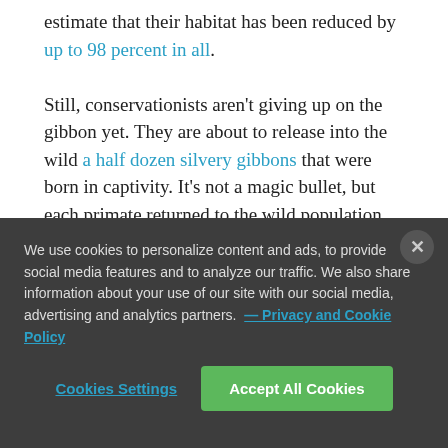estimate that their habitat has been reduced by up to 98 percent in all.

Still, conservationists aren't giving up on the gibbon yet. They are about to release into the wild a half dozen silvery gibbons that were born in captivity. It's not a magic bullet, but each primate returned to the wild population helps expand genetic diversity and gives the species a
We use cookies to personalize content and ads, to provide social media features and to analyze our traffic. We also share information about your use of our site with our social media, advertising and analytics partners. — Privacy and Cookie Policy